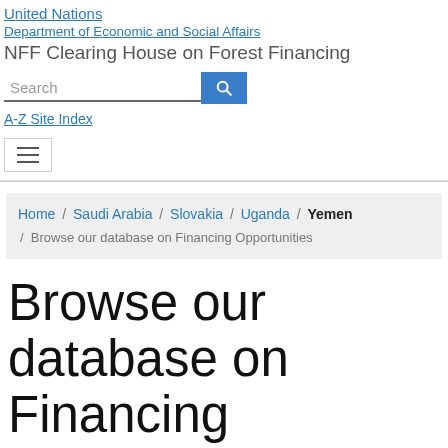United Nations
Department of Economic and Social Affairs
NFF Clearing House on Forest Financing
Search
A-Z Site Index
Home / Saudi Arabia / Slovakia / Uganda / Yemen / Browse our database on Financing Opportunities
Browse our database on Financing Opportunities